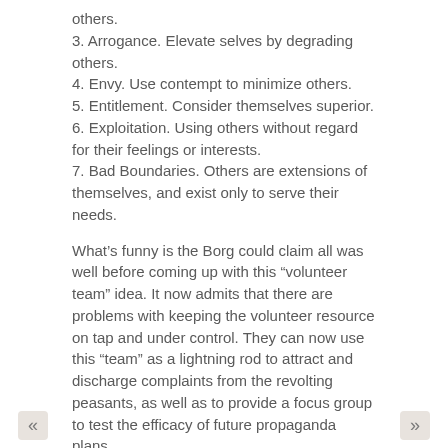others.
3. Arrogance. Elevate selves by degrading others.
4. Envy. Use contempt to minimize others.
5. Entitlement. Consider themselves superior.
6. Exploitation. Using others without regard for their feelings or interests.
7. Bad Boundaries. Others are extensions of themselves, and exist only to serve their needs.
What’s funny is the Borg could claim all was well before coming up with this “volunteer team” idea. It now admits that there are problems with keeping the volunteer resource on tap and under control. They can now use this “team” as a lightning rod to attract and discharge complaints from the revolting peasants, as well as to provide a focus group to test the efficacy of future propaganda plans.